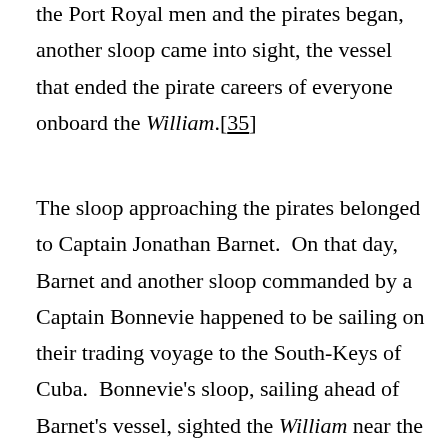draw together. Both after the finding both between the Port Royal men and the pirates began, another sloop came into sight, the vessel that ended the pirate careers of everyone onboard the William.[35]
The sloop approaching the pirates belonged to Captain Jonathan Barnet.  On that day, Barnet and another sloop commanded by a Captain Bonnevie happened to be sailing on their trading voyage to the South-Keys of Cuba.  Bonnevie's sloop, sailing ahead of Barnet's vessel, sighted the William near the shore and thought he saw the sloop fire a gun.  He waited for Barnet to come up so he could tell him of this discovery.[36]  Five years before to this event, Barnet